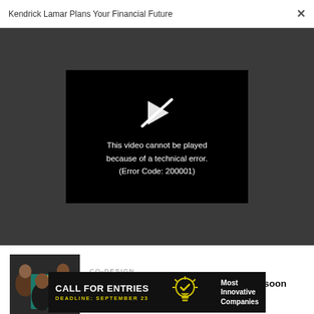Kendrick Lamar Plans Your Financial Future
[Figure (screenshot): Video player showing error: 'This video cannot be played because of a technical error. (Error Code: 200001)']
This video cannot be played because of a technical error. (Error Code: 200001)
[Figure (photo): Fashion designers photo thumbnail]
CO-DESIGN
Africa's coolest fashion designers will soon have their clothes in a store near you
[Figure (infographic): Call for Entries banner: CALL FOR ENTRIES, DEADLINE: SEPTEMBER 23, Most Innovative Companies, with lightbulb icon]